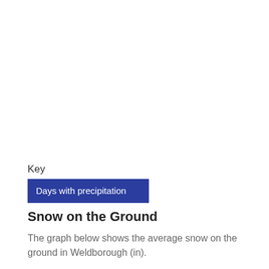Key
Days with precipitation
Snow on the Ground
The graph below shows the average snow on the ground in Weldborough (in).